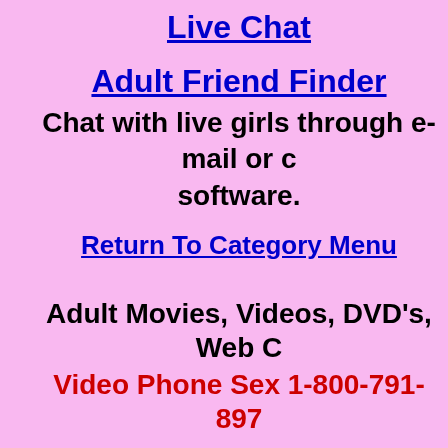Live Chat
Adult Friend Finder
Chat with live girls through e-mail or c... software.
Return To Category Menu
Adult Movies, Videos, DVD's, Web C...
Video Phone Sex 1-800-791-8970
Naughty Amateur Home Videos...
The largest collection of pornstar vide... the net
Sex See